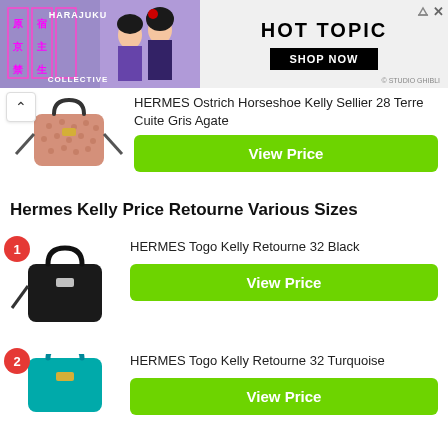[Figure (screenshot): Hot Topic advertisement banner with Harajuku Collective branding and Studio Ghibli characters]
HERMES Ostrich Horseshoe Kelly Sellier 28 Terre Cuite Gris Agate
View Price
Hermes Kelly Price Retourne Various Sizes
HERMES Togo Kelly Retourne 32 Black
View Price
HERMES Togo Kelly Retourne 32 Turquoise
View Price